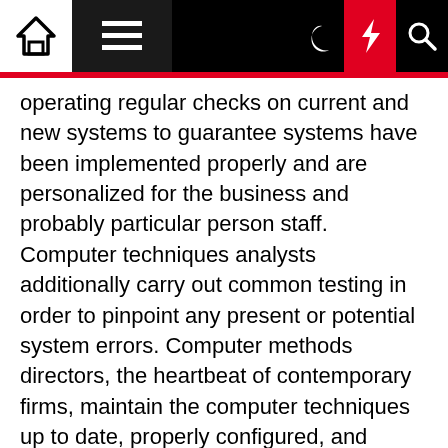Navigation bar with home, menu, moon, lightning, and search icons
operating regular checks on current and new systems to guarantee systems have been implemented properly and are personalized for the business and probably particular person staff. Computer techniques analysts additionally carry out common testing in order to pinpoint any present or potential system errors. Computer methods directors, the heartbeat of contemporary firms, maintain the computer techniques up to date, properly configured, and running smoothly at all times.
Still, most of those offerings are comprised of a general training element in addition to courses within the computer and technology major. General education lessons will cover Computer & Technology matters in arithmetic, language,